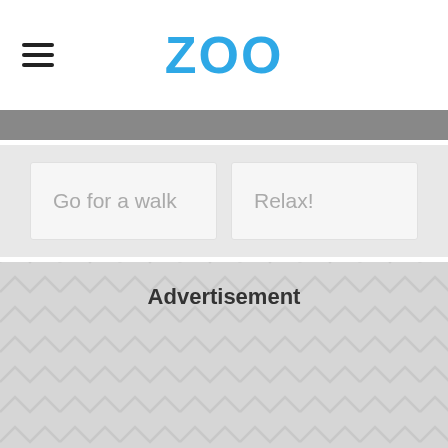ZOO
Go for a walk
Relax!
Advertisement